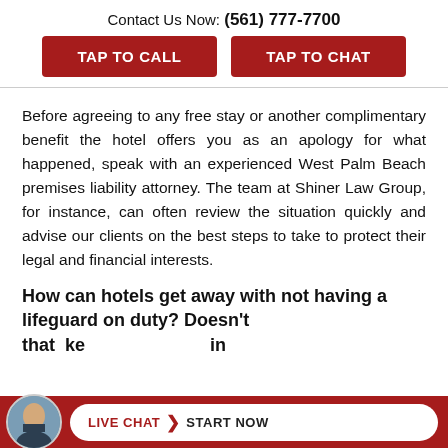Contact Us Now: (561) 777-7700
[Figure (other): Two red call-to-action buttons: TAP TO CALL and TAP TO CHAT]
Before agreeing to any free stay or another complimentary benefit the hotel offers you as an apology for what happened, speak with an experienced West Palm Beach premises liability attorney. The team at Shiner Law Group, for instance, can often review the situation quickly and advise our clients on the best steps to take to protect their legal and financial interests.
How can hotels get away with not having a lifeguard on duty? Doesn’t that make … in
[Figure (other): Red footer bar with circular avatar photo of attorney and a live chat pill button reading LIVE CHAT > START NOW]